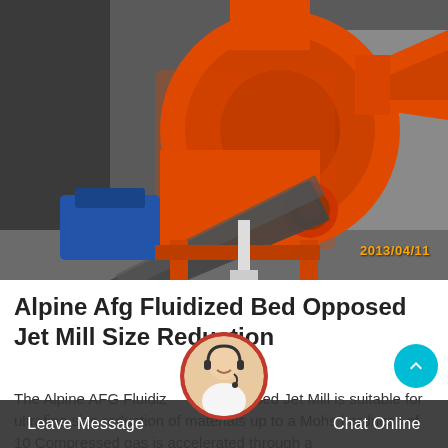[Figure (photo): Industrial orange centrifugal fan/mill machine with belt drive and blue electric motor, photographed in a factory setting. Date stamp reads 2013/04/11.]
Alpine Afg Fluidized Bed Opposed Jet Mill Size Reduction
The Alpine AFG Fluidized Bed Opposed Jet Mill is suitable for ultrafine size reduction of materials up to a Mohs hardness of 10 Compressed gas is accelerated through a